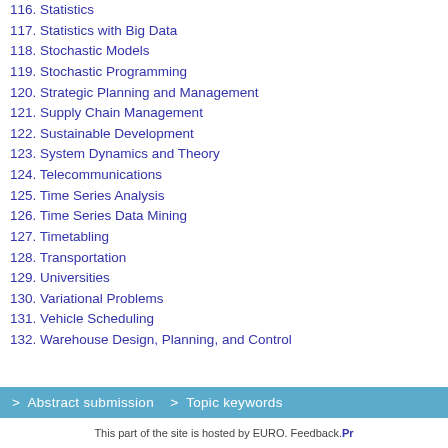116. Statistics
117. Statistics with Big Data
118. Stochastic Models
119. Stochastic Programming
120. Strategic Planning and Management
121. Supply Chain Management
122. Sustainable Development
123. System Dynamics and Theory
124. Telecommunications
125. Time Series Analysis
126. Time Series Data Mining
127. Timetabling
128. Transportation
129. Universities
130. Variational Problems
131. Vehicle Scheduling
132. Warehouse Design, Planning, and Control
> Abstract submission > Topic keywords
This part of the site is hosted by EURO. Feedback. Pr